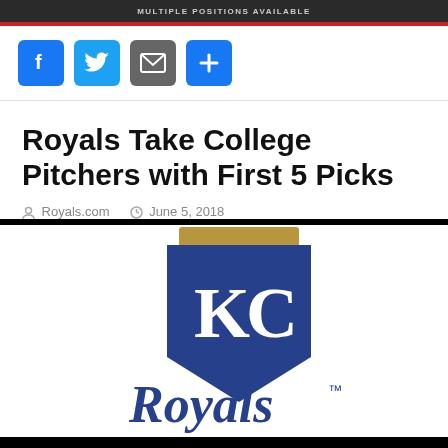MULTIPLE POSITIONS AVAILABLE
[Figure (logo): Kansas City Royals logo with KC letters on blue shield/crown badge and Royals script text]
Royals Take College Pitchers with First 5 Picks
Royals.com   June 5, 2018